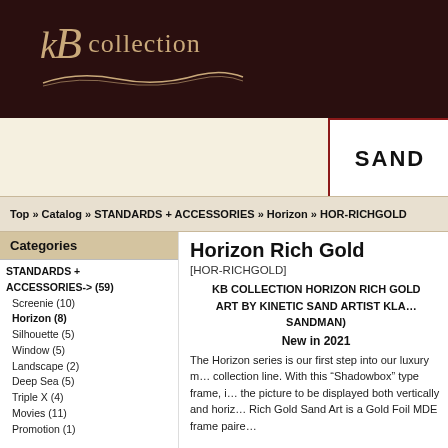[Figure (logo): KB Collection logo with stylized KB monogram and 'collection' text in gold/tan on dark brown background with decorative wave/swash lines]
SAND
Top » Catalog » STANDARDS + ACCESSORIES » Horizon » HOR-RICHGOLD
Categories
STANDARDS + ACCESSORIES-> (59)
Screenie (10)
Horizon (8)
Silhouette (5)
Window (5)
Landscape (2)
Deep Sea (5)
Triple X (4)
Movies (11)
Promotion (1)
Horizon Rich Gold
[HOR-RICHGOLD]
KB COLLECTION HORIZON RICH GOLD SAND ART BY KINETIC SAND ARTIST KLA... SANDMAN)
New in 2021
The Horizon series is our first step into our luxury collection line. With this "Shadowbox" type frame, the picture to be displayed both vertically and horizontally. Rich Gold Sand Art is a Gold Foil MDF frame paired...